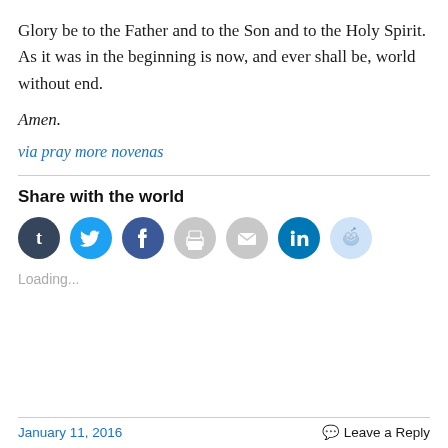Glory be to the Father and to the Son and to the Holy Spirit. As it was in the beginning is now, and ever shall be, world without end.
Amen.
via pray more novenas
Share with the world
[Figure (infographic): Row of seven social share icon buttons: Tumblr (dark navy circle with 't'), Twitter (blue circle with bird), Facebook (blue circle with 'f'), Print (light gray circle with printer), Email (light gray circle with envelope), LinkedIn (dark blue circle with 'in'), Reddit (light blue circle with alien mascot)]
Loading...
January 11, 2016   Leave a Reply